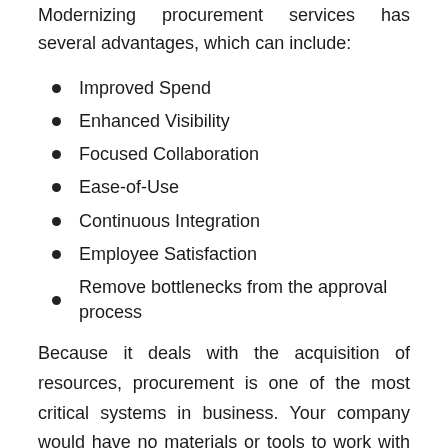Modernizing procurement services has several advantages, which can include:
Improved Spend
Enhanced Visibility
Focused Collaboration
Ease-of-Use
Continuous Integration
Employee Satisfaction
Remove bottlenecks from the approval process
Because it deals with the acquisition of resources, procurement is one of the most critical systems in business. Your company would have no materials or tools to work with if the procurement process did not exist. It is a strategic function that works to increase profitability